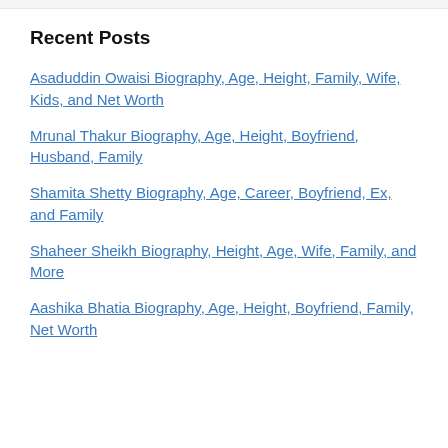Recent Posts
Asaduddin Owaisi Biography, Age, Height, Family, Wife, Kids, and Net Worth
Mrunal Thakur Biography, Age, Height, Boyfriend, Husband, Family
Shamita Shetty Biography, Age, Career, Boyfriend, Ex, and Family
Shaheer Sheikh Biography, Height, Age, Wife, Family, and More
Aashika Bhatia Biography, Age, Height, Boyfriend, Family, Net Worth